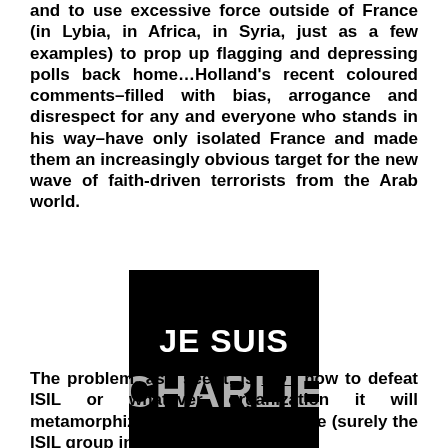and to use excessive force outside of France (in Lybia, in Africa, in Syria, just as a few examples) to prop up flagging and depressing polls back home…Holland's recent coloured comments–filled with bias, arrogance and disrespect for any and everyone who stands in his way–have only isolated France and made them an increasingly obvious target for the new wave of faith-driven terrorists from the Arab world.
[Figure (illustration): Black square image with white bold text reading 'JE SUIS CHARLIE', with 'JE SUIS' on top in smaller text and 'CHARLIE' below in larger text.]
The problem, as I see it, is NOT how to defeat ISIL or whatever organization it will metamorphize into in the near future (surely the ISIL group in Syria